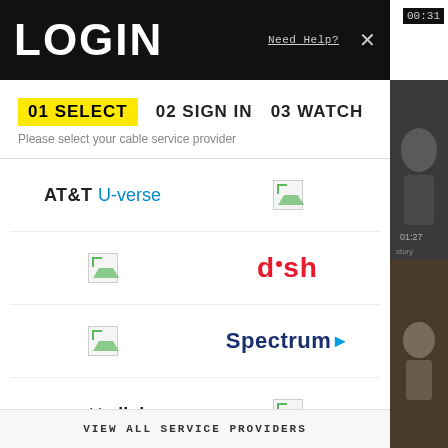LOGIN
Need Help?
00:31
01 SELECT  02 SIGN IN  03 WATCH
Please select your cable service provider
[Figure (screenshot): Grid of cable service provider logos including AT&T U-verse, DISH, Spectrum, Suddenlink, and broken image placeholders]
VIEW ALL SERVICE PROVIDERS